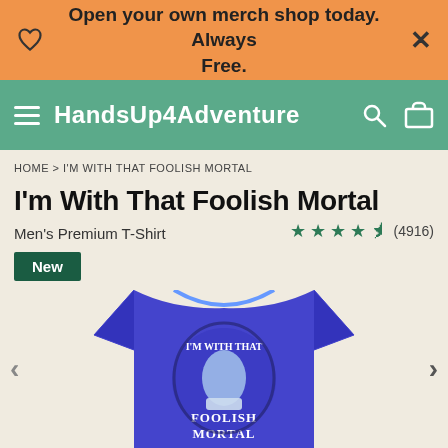Open your own merch shop today. Always Free.
HandsUp4Adventure
HOME > I'M WITH THAT FOOLISH MORTAL
I'm With That Foolish Mortal
Men's Premium T-Shirt
★★★★½ (4916)
New
[Figure (photo): Blue premium t-shirt with 'I'm With That Foolish Mortal' graphic design featuring a hand gesture and decorative dark frame elements]